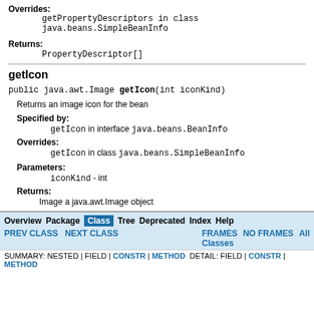Overrides: getPropertyDescriptors in class java.beans.SimpleBeanInfo
Returns: PropertyDescriptor[]
getIcon
public java.awt.Image getIcon(int iconKind)
Returns an image icon for the bean
Specified by: getIcon in interface java.beans.BeanInfo
Overrides: getIcon in class java.beans.SimpleBeanInfo
Parameters: iconKind - int
Returns: Image a java.awt.Image object
Overview Package Class Tree Deprecated Index Help | PREV CLASS NEXT CLASS | FRAMES NO FRAMES All Classes | SUMMARY: NESTED | FIELD | CONSTR | METHOD DETAIL: FIELD | CONSTR | METHOD